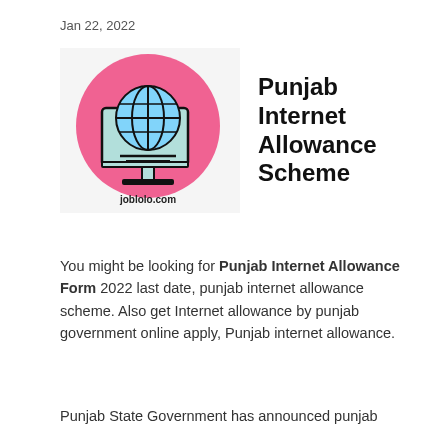Jan 22, 2022
[Figure (illustration): Pink circle with globe icon on computer monitor illustration, with joblolo.com watermark below]
Punjab Internet Allowance Scheme
You might be looking for Punjab Internet Allowance Form 2022 last date, punjab internet allowance scheme. Also get Internet allowance by punjab government online apply, Punjab internet allowance.
Punjab State Government has announced punjab